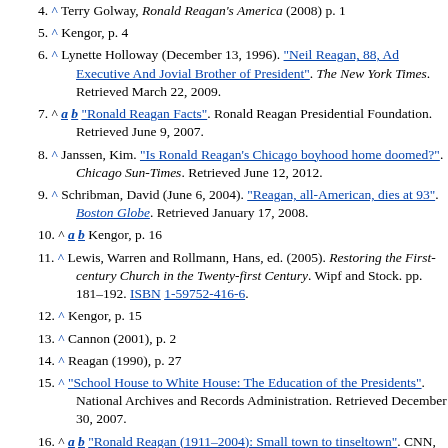4. ^ Terry Golway, Ronald Reagan's America (2008) p. 1
5. ^ Kengor, p. 4
6. ^ Lynette Holloway (December 13, 1996). "Neil Reagan, 88, Ad Executive And Jovial Brother of President". The New York Times. Retrieved March 22, 2009.
7. ^ a b "Ronald Reagan Facts". Ronald Reagan Presidential Foundation. Retrieved June 9, 2007.
8. ^ Janssen, Kim. "Is Ronald Reagan's Chicago boyhood home doomed?". Chicago Sun-Times. Retrieved June 12, 2012.
9. ^ Schribman, David (June 6, 2004). "Reagan, all-American, dies at 93". Boston Globe. Retrieved January 17, 2008.
10. ^ a b Kengor, p. 16
11. ^ Lewis, Warren and Rollmann, Hans, ed. (2005). Restoring the First-century Church in the Twenty-first Century. Wipf and Stock. pp. 181-192. ISBN 1-59752-416-6.
12. ^ Kengor, p. 15
13. ^ Cannon (2001), p. 2
14. ^ Reagan (1990), p. 27
15. ^ "School House to White House: The Education of the Presidents". National Archives and Records Administration. Retrieved December 30, 2007.
16. ^ a b "Ronald Reagan (1911-2004): Small town to tinseltown". CNN, 2004. Retrieved August 15, 2007.
17. ^ Yellin, Emily (July 17, 1999). "School Spirit Inc.; Millions of Cheerleaders Create a Growth Industry". The New York Times.
18. ^ "Cheerleading in the Context of Title IX and Gendering in Sport"